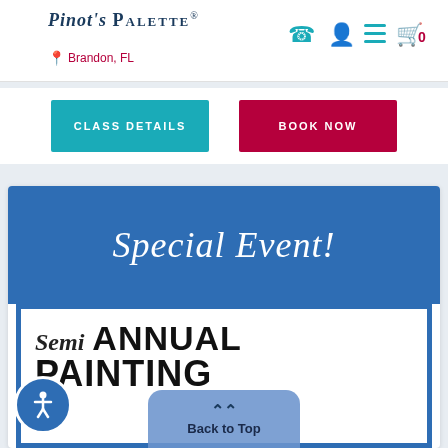Pinot's Palette — Brandon, FL
CLASS DETAILS
BOOK NOW
[Figure (screenshot): Special Event promotional card for Semi Annual Painting event at Pinot's Palette Brandon FL, with blue background and white cursive 'Special Event!' text, and white inner box with bold text 'Semi ANNUAL PAINTING']
Back to Top